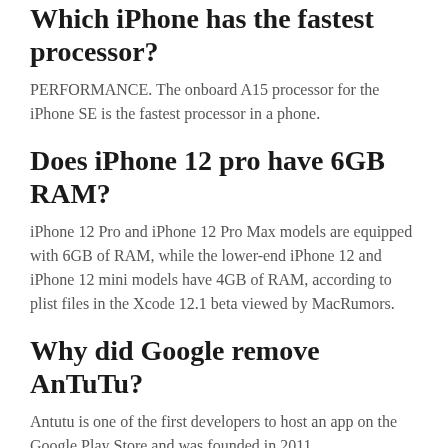Which iPhone has the fastest processor?
PERFORMANCE. The onboard A15 processor for the iPhone SE is the fastest processor in a phone.
Does iPhone 12 pro have 6GB RAM?
iPhone 12 Pro and iPhone 12 Pro Max models are equipped with 6GB of RAM, while the lower-end iPhone 12 and iPhone 12 mini models have 4GB of RAM, according to plist files in the Xcode 12.1 beta viewed by MacRumors.
Why did Google remove AnTuTu?
Antutu is one of the first developers to host an app on the Google Play Store and was founded in 2011.